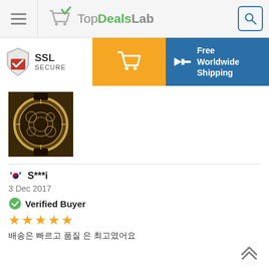[Figure (logo): TopDealsLab website header with hamburger menu, shopping cart logo with green checkmark, site name TopDealsLab, and search icon]
[Figure (infographic): Banner row with SSL Secure badge, orange cart button, and blue Free Worldwide Shipping panel with airplane icon]
[Figure (photo): Product photo of a luxury skeleton mechanical watch with gold case and intricate movement visible]
🇰🇷 S***i
3 Dec 2017
Verified Buyer
★★★★★
배송은 빠르고 품질 은 최고였어요